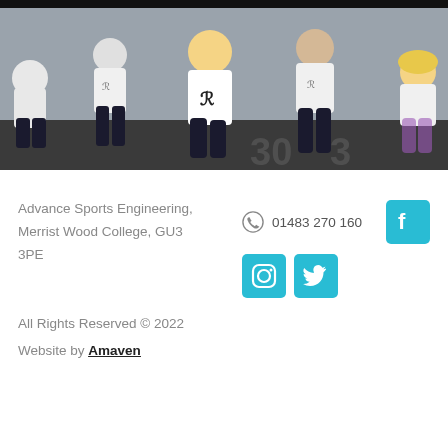[Figure (photo): Children in white athletic shirts with a logo, in a sports facility, in athletic stances as if ready to run or exercise. Numbers 30 visible on the floor.]
Advance Sports Engineering,
Merrist Wood College, GU3
3PE
01483 270 160
All Rights Reserved © 2022
Website by Amaven